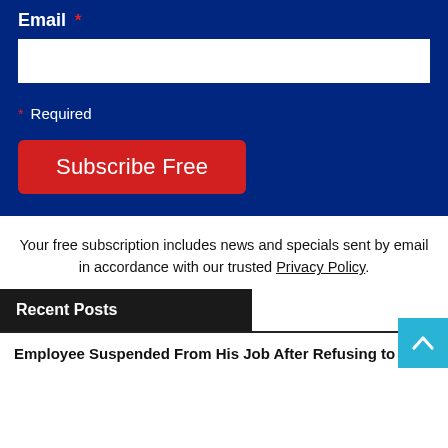Freedom from Censorship
Email *
* Required
Subscribe Free
Your free subscription includes news and specials sent by email in accordance with our trusted Privacy Policy.
Recent Posts
Employee Suspended From His Job After Refusing to Get